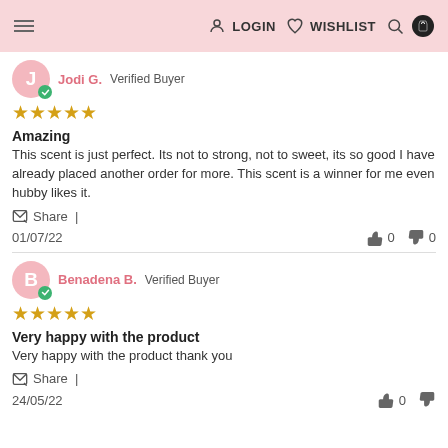≡  LOGIN  ♡  WISHLIST  🔍  🛍
Jodi G.  Verified Buyer
★★★★★
Amazing
This scent is just perfect. Its not to strong, not to sweet, its so good I have already placed another order for more. This scent is a winner for me even hubby likes it.
Share
01/07/22   👍 0   👎 0
Benadena B.  Verified Buyer
★★★★★
Very happy with the product
Very happy with the product thank you
Share
24/05/22   👍 0   👎